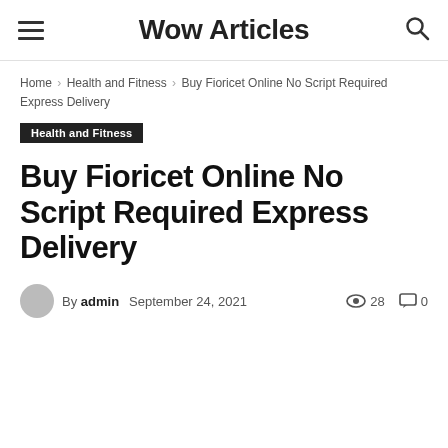Wow Articles
Home › Health and Fitness › Buy Fioricet Online No Script Required Express Delivery
Health and Fitness
Buy Fioricet Online No Script Required Express Delivery
By admin  September 24, 2021  28  0